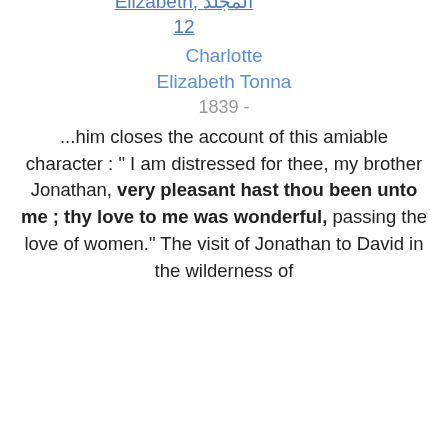Elizabeth, المجلد 12
Charlotte Elizabeth Tonna
1839 -
...him closes the account of this amiable character : " I am distressed for thee, my brother Jonathan, very pleasant hast thou been unto me ; thy love to me was wonderful, passing the love of women." The visit of Jonathan to David in the wilderness of